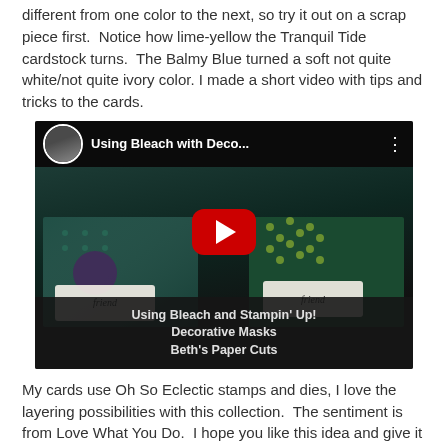different from one color to the next, so try it out on a scrap piece first.  Notice how lime-yellow the Tranquil Tide cardstock turns.  The Balmy Blue turned a soft not quite white/not quite ivory color. I made a short video with tips and tricks to the cards.
[Figure (screenshot): YouTube video thumbnail showing 'Using Bleach with Deco...' with a play button. Cards made with bleach and decorative masks are visible. Caption reads: Using Bleach and Stampin' Up! Decorative Masks Beth's Paper Cuts]
My cards use Oh So Eclectic stamps and dies, I love the layering possibilities with this collection.  The sentiment is from Love What You Do.  I hope you like this idea and give it